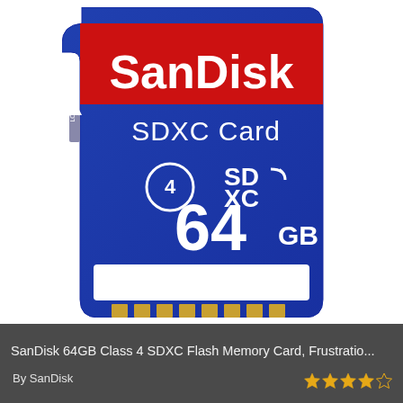[Figure (photo): SanDisk 64GB Class 4 SDXC Flash Memory Card product photo. Blue SD card with red top banner showing 'SanDisk' in large white bold text, below that 'SDXC Card' in white, Class 4 symbol (C with 4 inside), SDXC logo, and '64 GB' in large white text. White label area at bottom of card. Lock slider visible on left side.]
SanDisk 64GB Class 4 SDXC Flash Memory Card, Frustratio...
By SanDisk